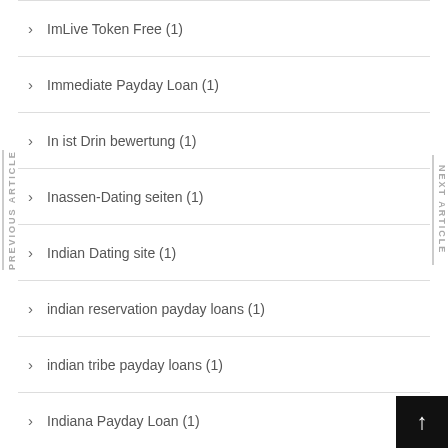ImLive Token Free (1)
Immediate Payday Loan (1)
In ist Drin bewertung (1)
Inassen-Dating seiten (1)
Indian Dating site (1)
indian reservation payday loans (1)
indian tribe payday loans (1)
Indiana Payday Loan (1)